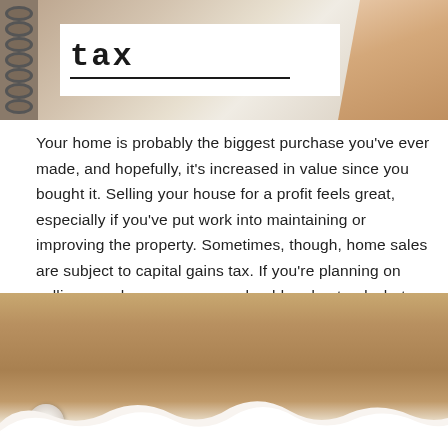[Figure (photo): Photo of a notebook with spiral binding on the left, showing a white page with the word 'tax' printed in bold typewriter font with a line underneath it. A hand is visible on the right side of the image holding or writing on the page. The background shows a wooden surface.]
Your home is probably the biggest purchase you've ever made, and hopefully, it's increased in value since you bought it. Selling your house for a profit feels great, especially if you've put work into maintaining or improving the property. Sometimes, though, home sales are subject to capital gains tax. If you're planning on selling your home soon, you should understand what capital gains tax is, who is and isn't exempted from the tax, and what the current rates are.
[Figure (photo): Photo of torn brown kraft paper revealing white paper underneath. A cardboard roll is visible on the lower left. The image shows the texture of ripped paper with the white interior exposed.]